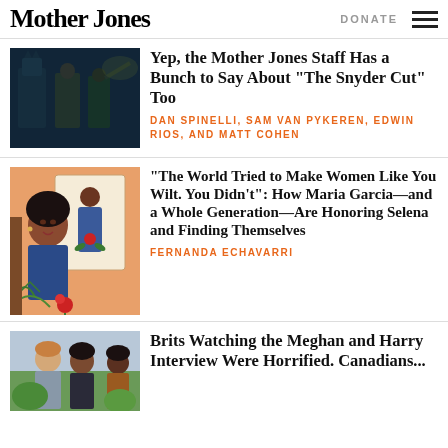Mother Jones | DONATE
[Figure (photo): Scene from Justice League Snyder Cut with Batman and other heroes in dark lighting]
Yep, the Mother Jones Staff Has a Bunch to Say About “The Snyder Cut” Too
DAN SPINELLI, SAM VAN PYKEREN, EDWIN RIOS, AND MATT COHEN
[Figure (illustration): Colorful illustration of Maria Garcia and Selena with floral motifs]
“The World Tried to Make Women Like You Wilt. You Didn’t”: How Maria Garcia—and a Whole Generation—Are Honoring Selena and Finding Themselves
FERNANDA ECHAVARRI
[Figure (photo): Photo of Meghan and Harry during interview]
Brits Watching the Meghan and Harry Interview Were Horrified. Canadians...